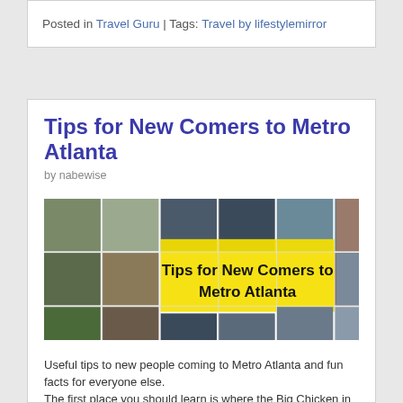Posted in Travel Guru | Tags: Travel by lifestylemirror
Tips for New Comers to Metro Atlanta
by nabewise
[Figure (photo): Collage of Metro Atlanta photos with yellow text overlay reading 'Tips for New Comers to Metro Atlanta']
Useful tips to new people coming to Metro Atlanta and fun facts for everyone else.
The first place you should learn is where the Big Chicken in Marietta is. All directions start from the Big Chicken, located on highway 41 in Marietta.
If you want to see the real Atlanta,